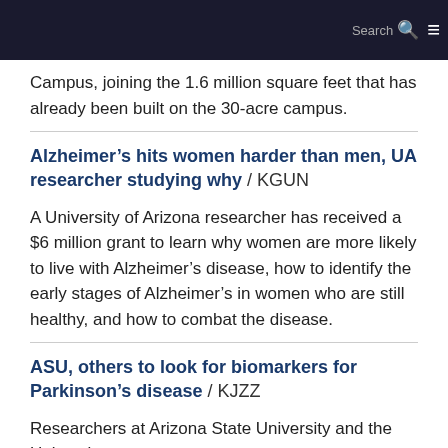Search ☰
Campus, joining the 1.6 million square feet that has already been built on the 30-acre campus.
Alzheimer's hits women harder than men, UA researcher studying why / KGUN
A University of Arizona researcher has received a $6 million grant to learn why women are more likely to live with Alzheimer's disease, how to identify the early stages of Alzheimer's in women who are still healthy, and how to combat the disease.
ASU, others to look for biomarkers for Parkinson's disease / KJZZ
Researchers at Arizona State University and the University